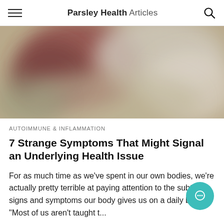Parsley Health Articles
[Figure (photo): Blurred photo with warm reddish-brown and muted olive/beige tones, appears to show a person or object indistinctly due to heavy blur]
AUTOIMMUNE & INFLAMMATION
7 Strange Symptoms That Might Signal an Underlying Health Issue
For as much time as we've spent in our own bodies, we're actually pretty terrible at paying attention to the subtle signs and symptoms our body gives us on a daily basis... "Most of us aren't taught t...